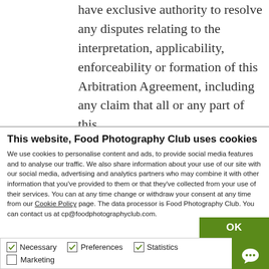have exclusive authority to resolve any disputes relating to the interpretation, applicability, enforceability or formation of this Arbitration Agreement, including any claim that all or any part of this
This website, Food Photography Club uses cookies
We use cookies to personalise content and ads, to provide social media features and to analyse our traffic. We also share information about your use of our site with our social media, advertising and analytics partners who may combine it with other information that you've provided to them or that they've collected from your use of their services. You can at any time change or withdraw your consent at any time from our Cookie Policy page. The data processor is Food Photography Club. You can contact us at cp@foodphotographyclub.com.